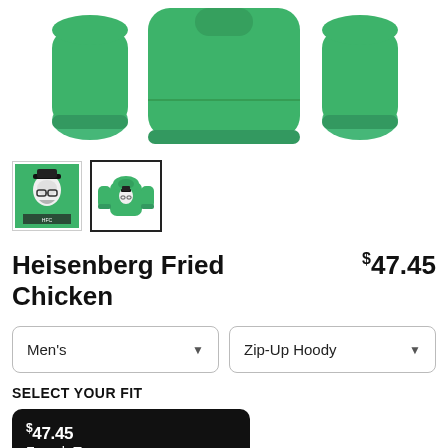[Figure (photo): Product photo showing a green zip-up hoodie laid flat, displayed from three angles: left sleeve, front, and right sleeve on white background]
[Figure (photo): Two product thumbnail images: left shows the graphic design (Heisenberg face on green background), right (selected, black border) shows the full green zip-up hoodie]
Heisenberg Fried Chicken
$47.45
Men's
Zip-Up Hoody
SELECT YOUR FIT
$47.45
French Terry